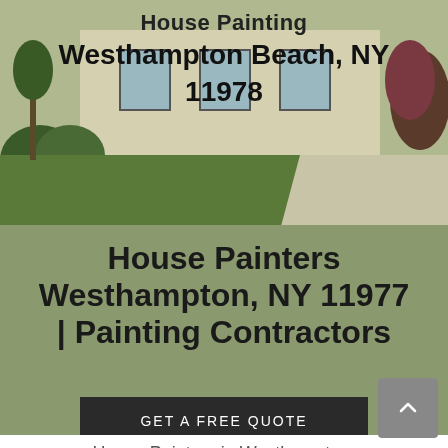[Figure (photo): Hero background image showing a house with green lawn and driveway]
House Painting Westhampton Beach, NY 11978
House Painters Westhampton, NY 11977 | Painting Contractors
GET A FREE QUOTE
House Painters in Westhampton,